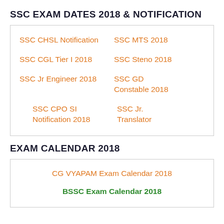SSC EXAM DATES 2018 & NOTIFICATION
| SSC CHSL Notification | SSC MTS 2018 |
| SSC CGL Tier I 2018 | SSC Steno 2018 |
| SSC Jr Engineer 2018 | SSC GD Constable 2018 |
| SSC CPO SI Notification 2018 | SSC Jr. Translator |
EXAM CALENDAR 2018
| CG VYAPAM Exam Calendar 2018 |
| BSSC Exam Calendar 2018 |